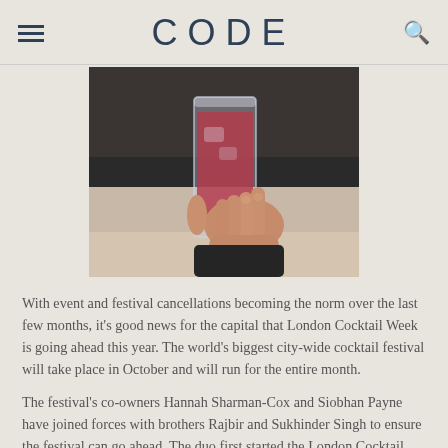CODE
[Figure (photo): Hand holding a glass with a red/pink cocktail drink on a table]
With event and festival cancellations becoming the norm over the last few months, it's good news for the capital that London Cocktail Week is going ahead this year. The world's biggest city-wide cocktail festival will take place in October and will run for the entire month.
The festival's co-owners Hannah Sharman-Cox and Siobhan Payne have joined forces with brothers Rajbir and Sukhinder Singh to ensure the festival can go ahead. The duo first started the London Cocktail Week in 2010 and to date, the festival has injected millions of pounds directly back into the London hospitality trade.